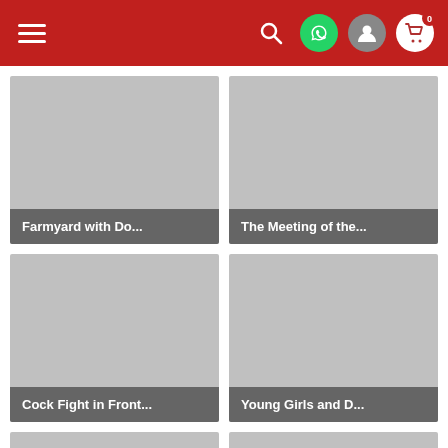Navigation header with hamburger menu, search, WhatsApp, user, and cart icons
[Figure (photo): Placeholder image card for 'Farmyard with Do...']
Farmyard with Do...
[Figure (photo): Placeholder image card for 'The Meeting of the...']
The Meeting of the...
[Figure (photo): Placeholder image card for 'Cock Fight in Front...']
Cock Fight in Front...
[Figure (photo): Placeholder image card for 'Young Girls and D...']
Young Girls and D...
[Figure (photo): Placeholder image card (bottom left, partially visible)]
[Figure (photo): Placeholder image card (bottom right, partially visible)]